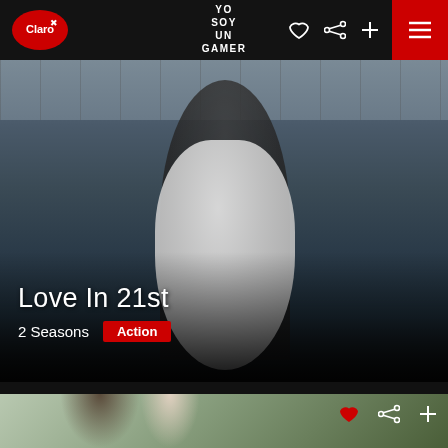YO SOY UN GAMER
[Figure (screenshot): Mobile app screenshot showing a streaming service (Claro) with a featured show 'Love In 21st' displaying a couple in wedding attire standing in front of a stone building. Navigation bar at top with Claro logo, 'YO SOY UN GAMER' text, and hamburger menu. Show info overlay at bottom showing '2 Seasons' and 'Action' badge.]
Love In 21st
2 Seasons
Action